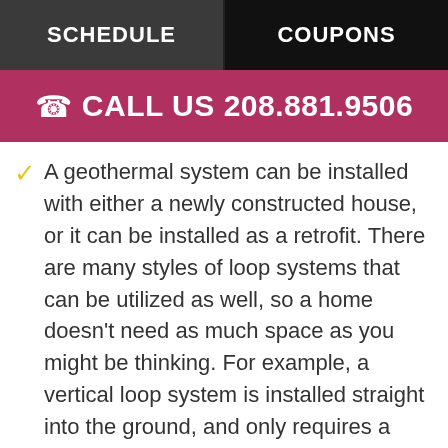SCHEDULE | COUPONS
CALL US 208.881.9506
A geothermal system can be installed with either a newly constructed house, or it can be installed as a retrofit. There are many styles of loop systems that can be utilized as well, so a home doesn't need as much space as you might be thinking. For example, a vertical loop system is installed straight into the ground, and only requires a small area compared to a horizontal loop.